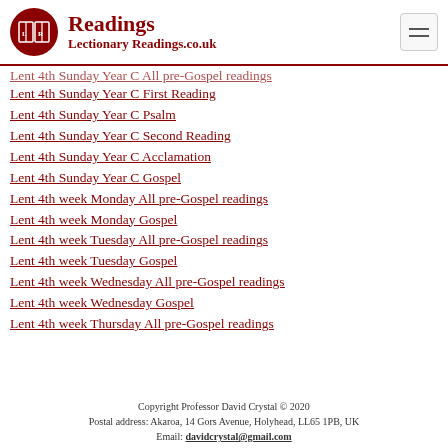Readings — LectionaryReadings.co.uk
Lent 4th Sunday Year C All pre-Gospel readings (partial, cut off)
Lent 4th Sunday Year C First Reading
Lent 4th Sunday Year C Psalm
Lent 4th Sunday Year C Second Reading
Lent 4th Sunday Year C Acclamation
Lent 4th Sunday Year C Gospel
Lent 4th week Monday All pre-Gospel readings
Lent 4th week Monday Gospel
Lent 4th week Tuesday All pre-Gospel readings
Lent 4th week Tuesday Gospel
Lent 4th week Wednesday All pre-Gospel readings
Lent 4th week Wednesday Gospel
Lent 4th week Thursday All pre-Gospel readings
Copyright Professor David Crystal © 2020
Postal address: Akaroa, 14 Gors Avenue, Holyhead, LL65 1PB, UK
Email: davidcrystal@gmail.com